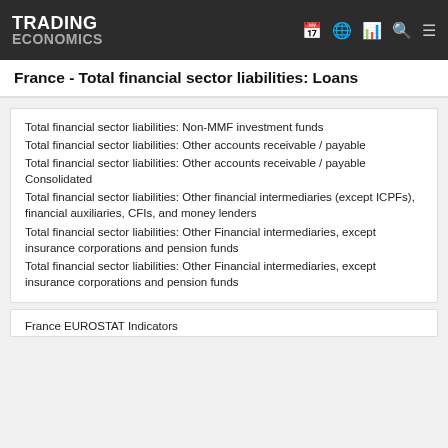TRADING ECONOMICS
France - Total financial sector liabilities: Loans
Total financial sector liabilities: Non-MMF investment funds
Total financial sector liabilities: Other accounts receivable / payable
Total financial sector liabilities: Other accounts receivable / payable Consolidated
Total financial sector liabilities: Other financial intermediaries (except ICPFs), financial auxiliaries, CFIs, and money lenders
Total financial sector liabilities: Other Financial intermediaries, except insurance corporations and pension funds
Total financial sector liabilities: Other Financial intermediaries, except insurance corporations and pension funds
France EUROSTAT Indicators